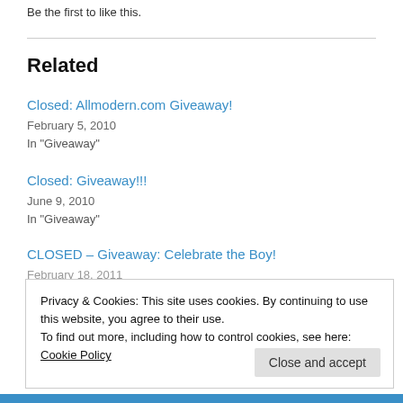Be the first to like this.
Related
Closed: Allmodern.com Giveaway!
February 5, 2010
In "Giveaway"
Closed: Giveaway!!!
June 9, 2010
In "Giveaway"
CLOSED – Giveaway: Celebrate the Boy!
February 18, 2011
Privacy & Cookies: This site uses cookies. By continuing to use this website, you agree to their use.
To find out more, including how to control cookies, see here: Cookie Policy
Close and accept